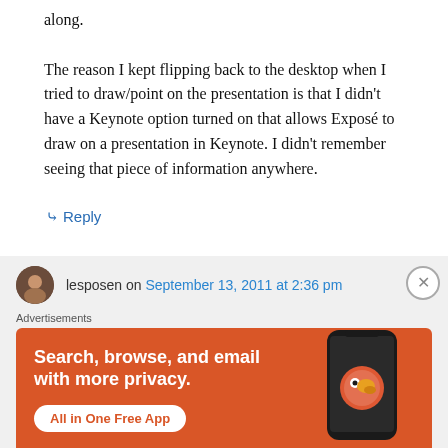along.

The reason I kept flipping back to the desktop when I tried to draw/point on the presentation is that I didn't have a Keynote option turned on that allows Exposé to draw on a presentation in Keynote. I didn't remember seeing that piece of information anywhere.
↳ Reply
lesposen on September 13, 2011 at 2:36 pm
[Figure (screenshot): DuckDuckGo advertisement banner with orange background. Text reads 'Search, browse, and email with more privacy. All in One Free App' with DuckDuckGo logo and phone image on the right side.]